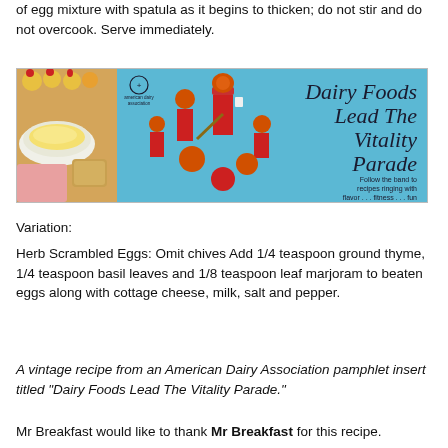of egg mixture with spatula as it begins to thicken; do not stir and do not overcook. Serve immediately.
[Figure (photo): Two photos side by side: left shows a bowl of scrambled eggs with toast; right is an American Dairy Association pamphlet cover titled 'Dairy Foods Lead The Vitality Parade' showing marching band members in red uniforms with orange hats, with text 'Follow the band to recipes ringing with flavor...fitness...fun']
Variation:
Herb Scrambled Eggs: Omit chives Add 1/4 teaspoon ground thyme, 1/4 teaspoon basil leaves and 1/8 teaspoon leaf marjoram to beaten eggs along with cottage cheese, milk, salt and pepper.
A vintage recipe from an American Dairy Association pamphlet insert titled "Dairy Foods Lead The Vitality Parade."
Mr Breakfast would like to thank Mr Breakfast for this recipe.